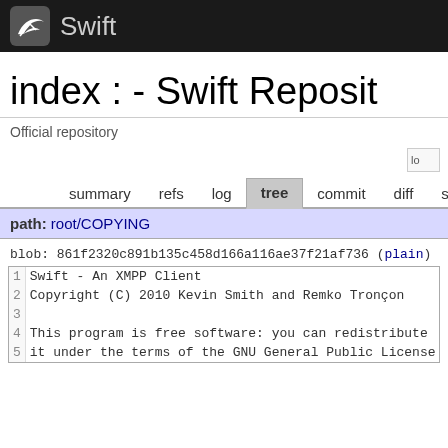Swift
index : - Swift Master Repository
Official repository
summary  refs  log  tree  commit  diff  stats
path: root/COPYING
blob: 861f2320c891b135c458d166a116ae37f21af736 (plain)
| line | code |
| --- | --- |
| 1 | Swift - An XMPP Client |
| 2 | Copyright (C) 2010 Kevin Smith and Remko Tronçon |
| 3 |  |
| 4 | This program is free software: you can redistribute |
| 5 | it under the terms of the GNU General Public License |